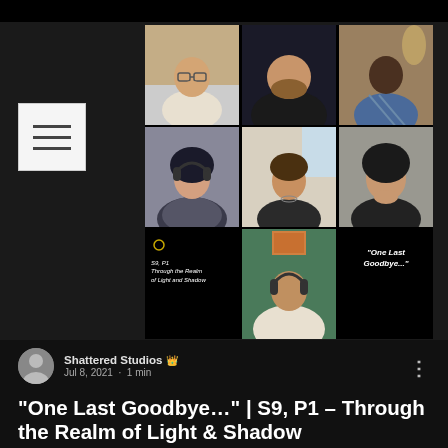[Figure (screenshot): Video call screenshot showing 7 participants in a grid layout. Bottom-left overlay reads 'S9, P1 Through the Realm of Light and Shadow'. Bottom-right overlay reads '"One Last Goodbye..."'. A hamburger menu icon appears in the top-left corner.]
Shattered Studios 👑
Jul 8, 2021 · 1 min
“One Last Goodbye…” | S9, P1 – Through the Realm of Light & Shadow
Tragedy has struck. The team struggles to honor a fallen comrade and endure another